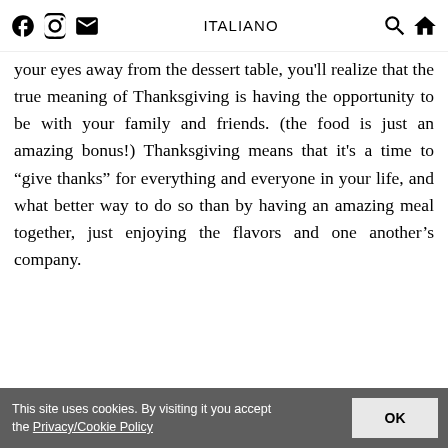ITALIANO
your eyes away from the dessert table, you'll realize that the true meaning of Thanksgiving is having the opportunity to be with your family and friends. (the food is just an amazing bonus!) Thanksgiving means that it's a time to “give thanks” for everything and everyone in your life, and what better way to do so than by having an amazing meal together, just enjoying the flavors and one another’s company.
This site uses cookies. By visiting it you accept the Privacy/Cookie Policy